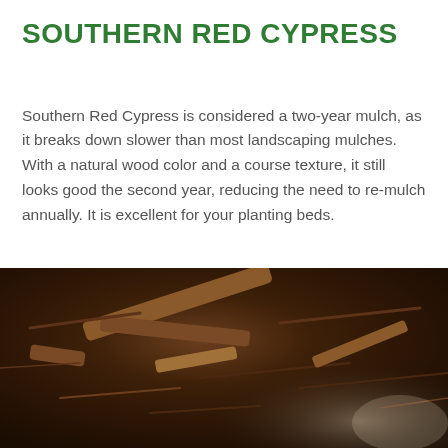SOUTHERN RED CYPRESS
Southern Red Cypress is considered a two-year mulch, as it breaks down slower than most landscaping mulches. With a natural wood color and a course texture, it still looks good the second year, reducing the need to re-mulch annually. It is excellent for your planting beds.
[Figure (photo): Close-up photograph of Southern Red Cypress mulch showing dark brown fibrous wood chips and bark fragments piled together on a light background.]